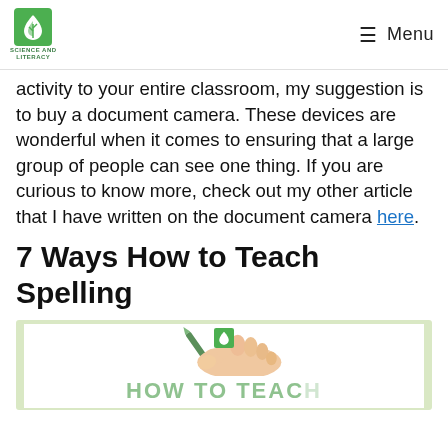Science and Literacy — Menu
activity to your entire classroom, my suggestion is to buy a document camera. These devices are wonderful when it comes to ensuring that a large group of people can see one thing. If you are curious to know more, check out my other article that I have written on the document camera here.
7 Ways How to Teach Spelling
[Figure (illustration): Illustration of a hand writing with a pencil, with text 'HOW TO TEACH' visible at the bottom, shown on a light green background representing a Science and Literacy article thumbnail.]